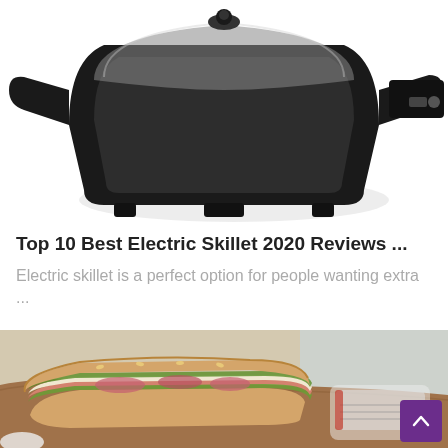[Figure (photo): A black electric skillet with glass lid and detachable temperature control handle, photographed on white background at an angle showing the top and side.]
Top 10 Best Electric Skillet 2020 Reviews ...
Electric skillet is a perfect option for people wanting extra ...
[Figure (photo): Close-up of sandwiches with ham, cheese, greens and red onion on a wooden board, with a kitchen appliance visible in background.]